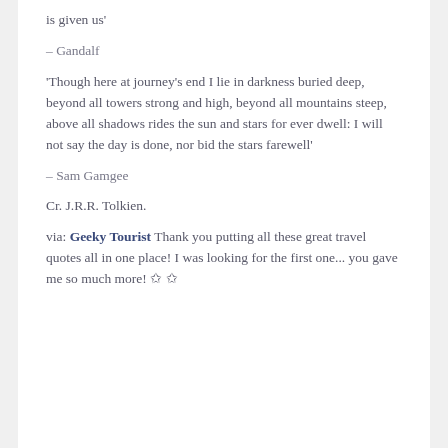is given us'
– Gandalf
'Though here at journey's end I lie in darkness buried deep, beyond all towers strong and high, beyond all mountains steep, above all shadows rides the sun and stars for ever dwell: I will not say the day is done, nor bid the stars farewell'
– Sam Gamgee
Cr. J.R.R. Tolkien.
via: Geeky Tourist Thank you putting all these great travel quotes all in one place! I was looking for the first one... you gave me so much more! ☆ ☆